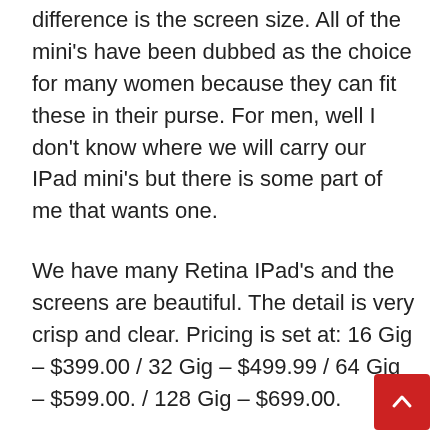difference is the screen size. All of the mini's have been dubbed as the choice for many women because they can fit these in their purse. For men, well I don't know where we will carry our IPad mini's but there is some part of me that wants one.
We have many Retina IPad's and the screens are beautiful. The detail is very crisp and clear. Pricing is set at: 16 Gig – $399.00 / 32 Gig – $499.99 / 64 Gig – $599.00. / 128 Gig – $699.00.
So the bottom line to this post and my thoughts. If you have the money and you are looking for something that will last, is light and can even promote reading for children. You can't go wrong with buying the new IPad Mini Retina...